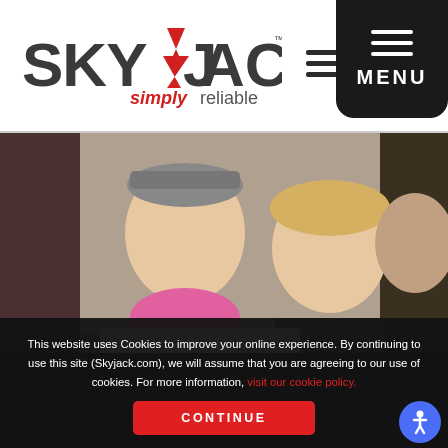[Figure (logo): Skyjack logo with tagline 'simply reliable' in red]
[Figure (other): Menu icon (hamburger) - three horizontal lines]
[Figure (other): Black rounded rectangle MENU button with hamburger icon and MENU text]
[Figure (photo): Two young blonde girls smiling, one wearing a pink scarf, holding a box, event setting with people in background]
This website uses Cookies to improve your online experience. By continuing to use this site (Skyjack.com), we will assume that you are agreeing to our use of cookies. For more information, visit our cookie policy.
CONTINUE